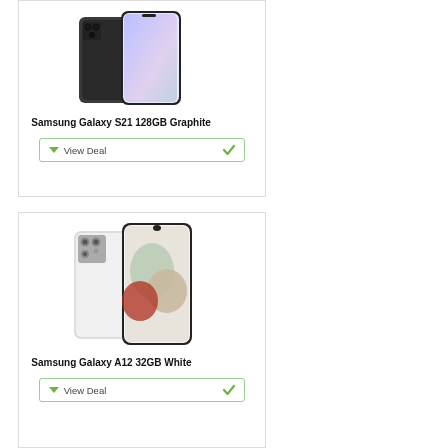[Figure (photo): Samsung Galaxy S21 128GB Graphite smartphone shown from front and back angles]
Samsung Galaxy S21 128GB Graphite
[Figure (other): View Deal button with green border, down arrow icon, text 'View Deal', and green checkmark]
[Figure (photo): Samsung Galaxy A12 32GB White smartphone shown from front and back angles]
Samsung Galaxy A12 32GB White
[Figure (other): View Deal button with green border, down arrow icon, text 'View Deal', and green checkmark]